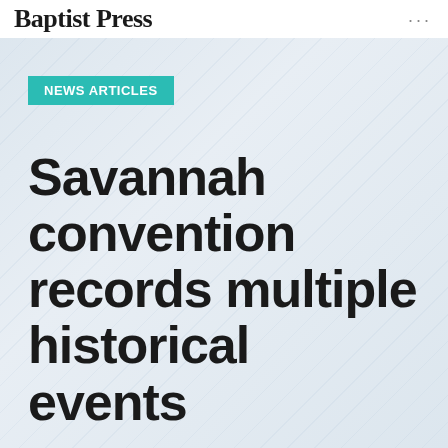Baptist Press
NEWS ARTICLES
Savannah convention records multiple historical events
By Greg Brett & William Neal, posted November 17, 2000 in